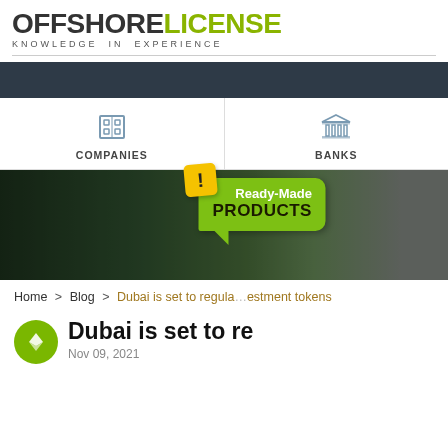[Figure (logo): OffshoreLicense logo with tagline KNOWLEDGE IN EXPERIENCE]
[Figure (screenshot): Dark navigation bar]
[Figure (screenshot): Navigation menu with COMPANIES and BANKS icons]
[Figure (photo): Hero banner with trees/foliage background and Ready-Made PRODUCTS badge overlay]
Home > Blog > Dubai is set to regulate investment tokens
Dubai is set to re
Nov 09, 2021